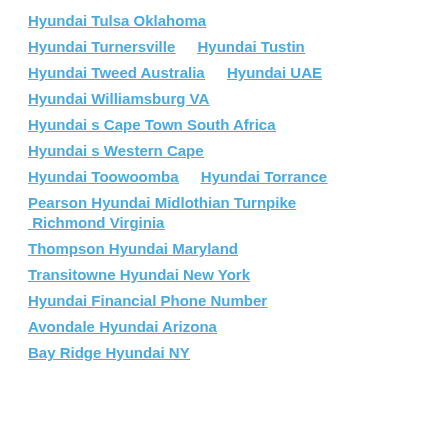Hyundai Tulsa Oklahoma
Hyundai Turnersville    Hyundai Tustin
Hyundai Tweed Australia    Hyundai UAE
Hyundai Williamsburg VA
Hyundai s Cape Town South Africa
Hyundai s Western Cape
Hyundai Toowoomba    Hyundai Torrance
Pearson Hyundai Midlothian Turnpike Richmond Virginia
Thompson Hyundai Maryland
Transitowne Hyundai New York
Hyundai Financial Phone Number
Avondale Hyundai Arizona
Bay Ridge Hyundai NY